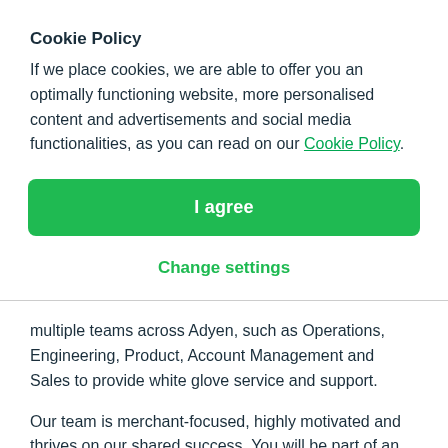Cookie Policy
If we place cookies, we are able to offer you an optimally functioning website, more personalised content and advertisements and social media functionalities, as you can read on our Cookie Policy.
I agree
Change settings
multiple teams across Adyen, such as Operations, Engineering, Product, Account Management and Sales to provide white glove service and support.
Our team is merchant-focused, highly motivated and thrives on our shared success. You will be part of an